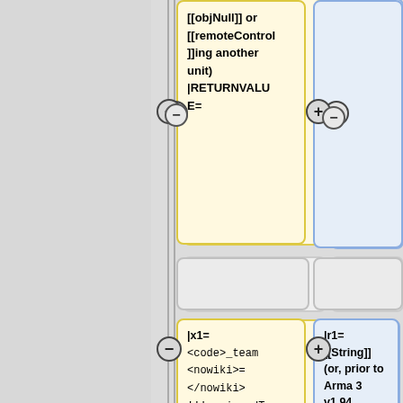[Figure (flowchart): Wiki template flowchart showing two-column layout with yellow and blue cards connected by plus/minus nodes on a vertical divider line. Cards contain template markup for assignedTeam command documentation.]